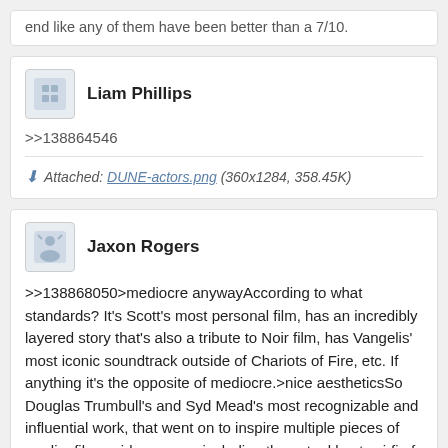end like any of them have been better than a 7/10.
Liam Phillips
>>138864546
Attached: DUNE-actors.png (360x1284, 358.45K)
Jaxon Rogers
>>138868050>mediocre anywayAccording to what standards? It's Scott's most personal film, has an incredibly layered story that's also a tribute to Noir film, has Vangelis' most iconic soundtrack outside of Chariots of Fire, etc. If anything it's the opposite of mediocre.>nice aestheticsSo Douglas Trumbull's and Syd Mead's most recognizable and influential work, that went on to inspire multiple pieces of media, films, videogames, including the actual best sci-fi of the century (AI) is just "nice". I can only imagine how petty you must be IRL.